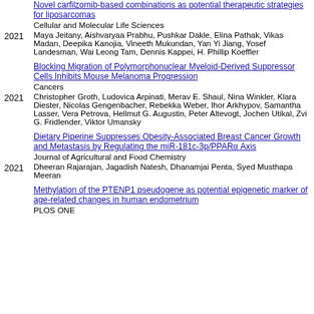Novel carfilzomib-based combinations as potential therapeutic strategies for liposarcomas
Cellular and Molecular Life Sciences
2021 Maya Jeitany, Aishvaryaa Prabhu, Pushkar Dakle, Elina Pathak, Vikas Madan, Deepika Kanojia, Vineeth Mukundan, Yan Yi Jiang, Yosef Landesman, Wai Leong Tam, Dennis Kappei, H. Phillip Koeffler
Blocking Migration of Polymorphonuclear Myeloid-Derived Suppressor Cells Inhibits Mouse Melanoma Progression
Cancers
2021 Christopher Groth, Ludovica Arpinati, Merav E. Shaul, Nina Winkler, Klara Diester, Nicolas Gengenbacher, Rebekka Weber, Ihor Arkhypov, Samantha Lasser, Vera Petrova, Hellmut G. Augustin, Peter Altevogt, Jochen Utikal, Zvi G. Fridlender, Viktor Umansky
Dietary Piperine Suppresses Obesity-Associated Breast Cancer Growth and Metastasis by Regulating the miR-181c-3p/PPARα Axis
Journal of Agricultural and Food Chemistry
2021 Dheeran Rajarajan, Jagadish Natesh, Dhanamjai Penta, Syed Musthapa Meeran
Methylation of the PTENP1 pseudogene as potential epigenetic marker of age-related changes in human endometrium
PLOS ONE